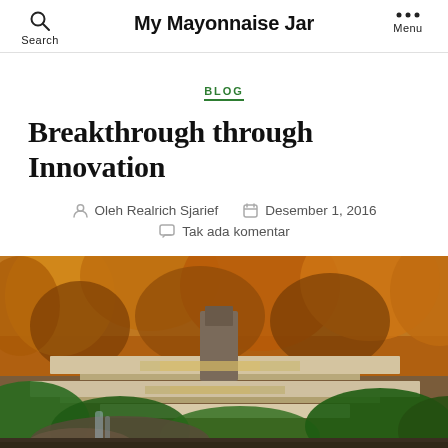My Mayonnaise Jar
BLOG
Breakthrough through Innovation
Oleh Realrich Sjarief   Desember 1, 2016   Tak ada komentar
[Figure (photo): Fallingwater house by Frank Lloyd Wright, a modernist building with cantilevered terraces over a waterfall, surrounded by autumn forest trees with orange and green foliage.]